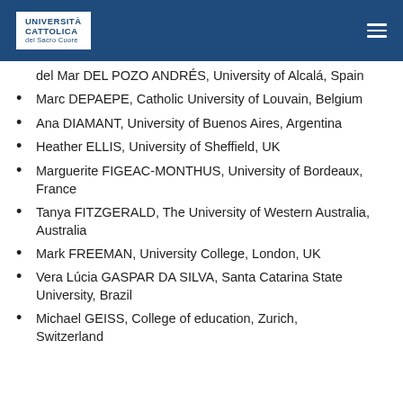Università Cattolica del Sacro Cuore
del Mar DEL POZO ANDRÉS, University of Alcalá, Spain
Marc DEPAEPE, Catholic University of Louvain, Belgium
Ana DIAMANT, University of Buenos Aires, Argentina
Heather ELLIS, University of Sheffield, UK
Marguerite FIGEAC-MONTHUS, University of Bordeaux, France
Tanya FITZGERALD, The University of Western Australia, Australia
Mark FREEMAN, University College, London, UK
Vera Lúcia GASPAR DA SILVA, Santa Catarina State University, Brazil
Michael GEISS, College of education, Zurich, Switzerland